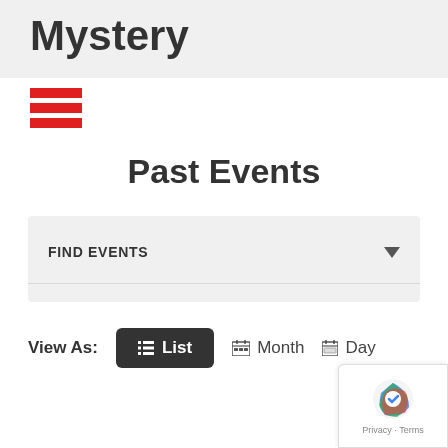Mystery
[Figure (other): Hamburger menu icon made of three red horizontal bars]
Past Events
FIND EVENTS (dropdown)
View As: List  Month  Day
[Figure (other): reCAPTCHA badge with Privacy and Terms text]